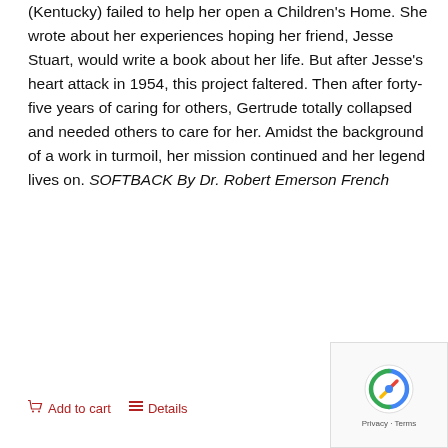(Kentucky) failed to help her open a Children's Home. She wrote about her experiences hoping her friend, Jesse Stuart, would write a book about her life. But after Jesse's heart attack in 1954, this project faltered. Then after forty-five years of caring for others, Gertrude totally collapsed and needed others to care for her. Amidst the background of a work in turmoil, her mission continued and her legend lives on. SOFTBACK By Dr. Robert Emerson French
Add to cart   Details